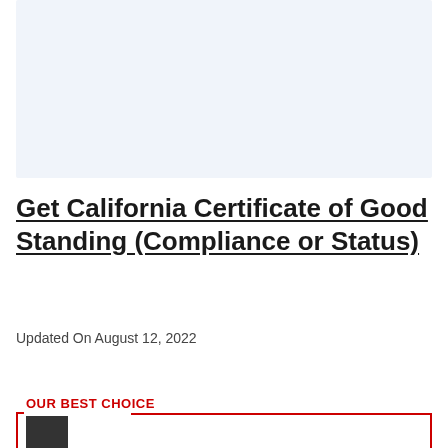[Figure (other): Light blue/grey rectangular image placeholder area at the top of the page]
Get California Certificate of Good Standing (Compliance or Status)
Updated On August 12, 2022
OUR BEST CHOICE